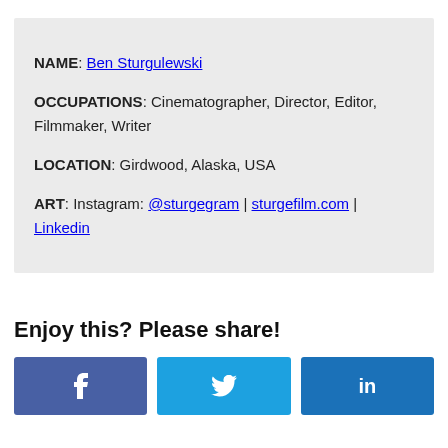NAME: Ben Sturgulewski
OCCUPATIONS: Cinematographer, Director, Editor, Filmmaker, Writer
LOCATION: Girdwood, Alaska, USA
ART: Instagram: @sturgegram | sturgefilm.com | Linkedin
Enjoy this? Please share!
[Figure (infographic): Three social share buttons: Facebook (f), Twitter (bird icon), LinkedIn (in)]